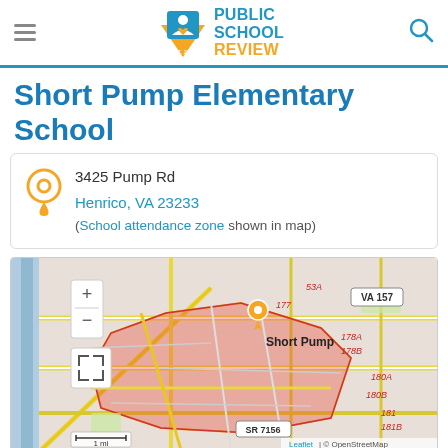Public School Review — EST. 2003
Short Pump Elementary School
3425 Pump Rd
Henrico, VA 23233
(School attendance zone shown in map)
[Figure (map): Street map showing Short Pump area in Henrico, VA with school attendance zone highlighted in red/pink overlay. Map markers include VA 157, SR 7156, and route numbers 177, 178A, 178B, 180A, 180B, 181, 181B, 53A. Shows 1 mi scale bar. Attribution: Leaflet | © OpenStreetMap]